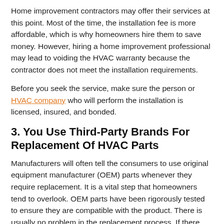Home improvement contractors may offer their services at this point. Most of the time, the installation fee is more affordable, which is why homeowners hire them to save money. However, hiring a home improvement professional may lead to voiding the HVAC warranty because the contractor does not meet the installation requirements.
Before you seek the service, make sure the person or HVAC company who will perform the installation is licensed, insured, and bonded.
3. You Use Third-Party Brands For Replacement Of HVAC Parts
Manufacturers will often tell the consumers to use original equipment manufacturer (OEM) parts whenever they require replacement. It is a vital step that homeowners tend to overlook. OEM parts have been rigorously tested to ensure they are compatible with the product. There is usually no problem in the replacement process. If there are any issues, it would be easy for you to make a claim for the warranty.